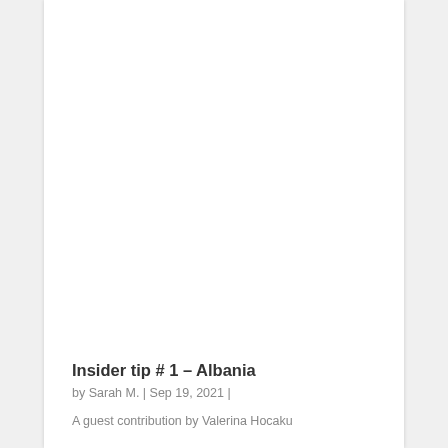Insider tip # 1 – Albania
by Sarah M. | Sep 19, 2021 |
A guest contribution by Valerina Hocaku